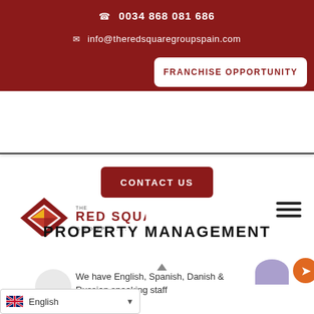0034 868 081 686
info@theredsquaregroupspain.com
FRANCHISE OPPORTUNITY
[Figure (logo): The Red Square Group S.L. logo — red diamond shape with arrow, company name in dark red text]
CONTACT US
PROPERTY MANAGEMENT
We have English, Spanish, Danish & Russian speaking staff
English